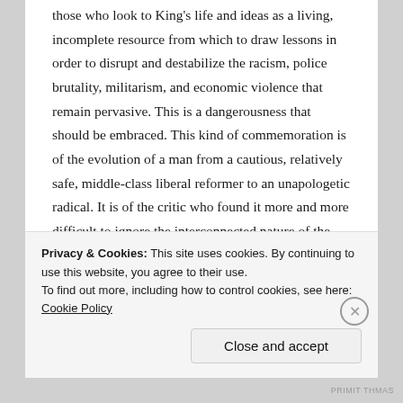those who look to King's life and ideas as a living, incomplete resource from which to draw lessons in order to disrupt and destabilize the racism, police brutality, militarism, and economic violence that remain pervasive. This is a dangerousness that should be embraced. This kind of commemoration is of the evolution of a man from a cautious, relatively safe, middle-class liberal reformer to an unapologetic radical. It is of the critic who found it more and more difficult to ignore the interconnected nature of the various manifestations of violence and oppressions
Privacy & Cookies: This site uses cookies. By continuing to use this website, you agree to their use.
To find out more, including how to control cookies, see here: Cookie Policy
Close and accept